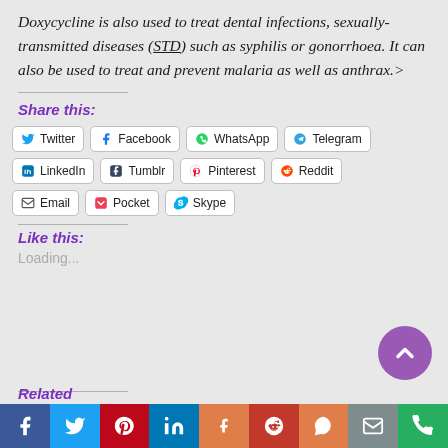Doxycycline is also used to treat dental infections, sexually-transmitted diseases (STD) such as syphilis or gonorrhoea. It can also be used to treat and prevent malaria as well as anthrax.>
Share this:
[Figure (infographic): Social share buttons: Twitter, Facebook, WhatsApp, Telegram, LinkedIn, Tumblr, Pinterest, Reddit, Email, Pocket, Skype]
Like this:
Loading...
Related